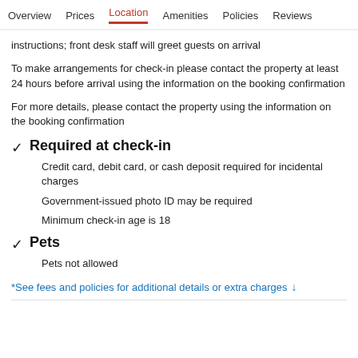Overview   Prices   Location   Amenities   Policies   Reviews
instructions; front desk staff will greet guests on arrival
To make arrangements for check-in please contact the property at least 24 hours before arrival using the information on the booking confirmation
For more details, please contact the property using the information on the booking confirmation
Required at check-in
Credit card, debit card, or cash deposit required for incidental charges
Government-issued photo ID may be required
Minimum check-in age is 18
Pets
Pets not allowed
*See fees and policies for additional details or extra charges ↓